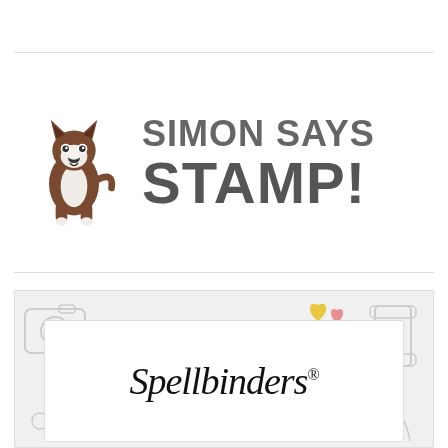[Figure (logo): Simon Says Stamp logo with a Boston Terrier dog illustration and bold gray text reading SIMON SAYS STAMP!]
[Figure (logo): Spellbinders logo on white card over a craft-themed background with doodle illustrations of cameras, scissors, thread spools, and colorful hearts. The Spellbinders text is in italic serif font.]